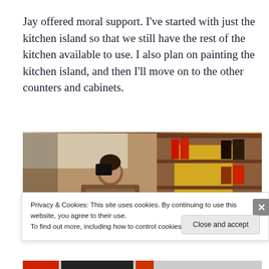Jay offered moral support.  I've started with just the kitchen island so that we still have the rest of the kitchen available to use.  I also plan on painting the kitchen island, and then I'll move on to the other counters and cabinets.
[Figure (photo): Photo of a man near kitchen cabinets, slightly tilted/rotated view. Warm tones with wooden cabinetry visible in background.]
Privacy & Cookies: This site uses cookies. By continuing to use this website, you agree to their use.
To find out more, including how to control cookies, see here: Cookie Policy
Close and accept